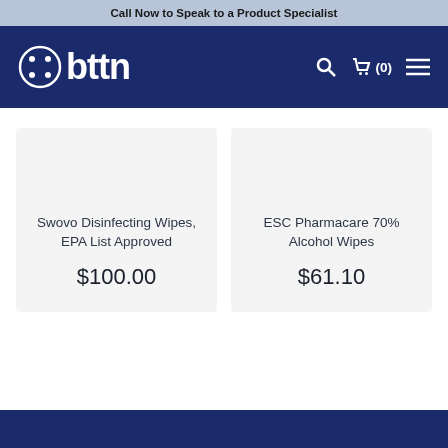Call Now to Speak to a Product Specialist
[Figure (logo): bttn logo with circular icon on dark navy navigation bar with search, cart (0) and menu icons]
Swovo Disinfecting Wipes, EPA List Approved
$100.00
ESC Pharmacare 70% Alcohol Wipes
$61.10